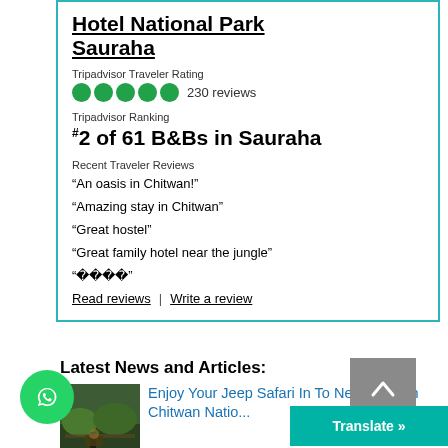Hotel National Park Sauraha
Tripadvisor Traveler Rating
230 reviews
Tripadvisor Ranking
#2 of 61 B&Bs in Sauraha
Recent Traveler Reviews
“An oasis in Chitwan!”
“Amazing stay in Chitwan”
“Great hostel”
“Great family hotel near the jungle”
“����”
Read reviews | Write a review
Latest News and Articles:
[Figure (photo): Jeep safari in Chitwan National Park jungle scene]
Enjoy Your Jeep Safari In To Next Level In Chitwan Natio...